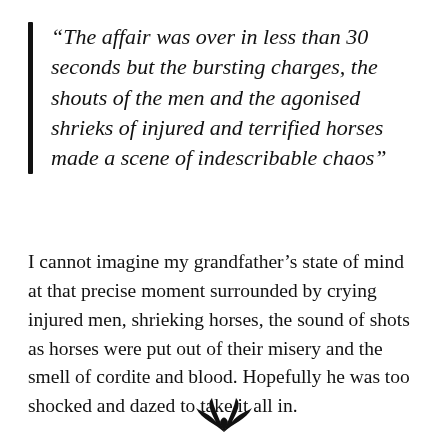“The affair was over in less than 30 seconds but the bursting charges, the shouts of the men and the agonised shrieks of injured and terrified horses made a scene of indescribable chaos”
I cannot imagine my grandfather’s state of mind at that precise moment surrounded by crying injured men, shrieking horses, the sound of shots as horses were put out of their misery and the smell of cordite and blood. Hopefully he was too shocked and dazed to take it all in.
[Figure (illustration): Small black decorative bird/wings ornament at the bottom center of the page]